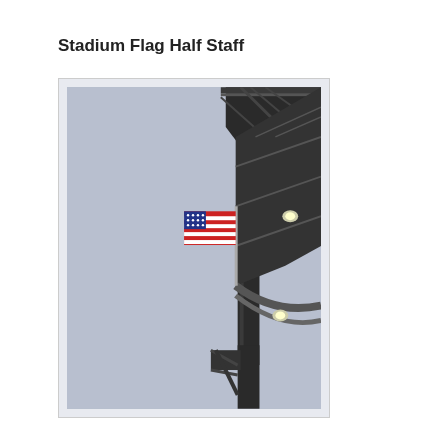Stadium Flag Half Staff
[Figure (photo): Photograph of an American flag flying at half staff on a flagpole mounted on the upper structure of a stadium. The flag is partially unfurled and drooping. The stadium's steel girder structure and underside of the upper deck are visible in the upper right, with overcast gray-blue sky in the background.]